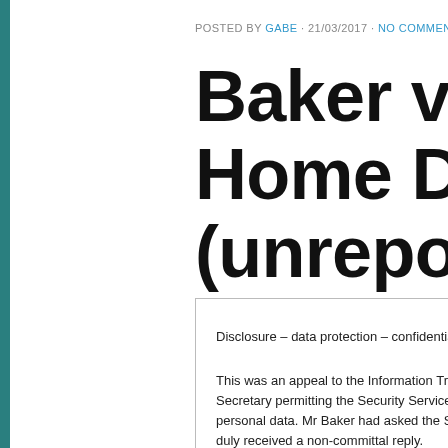POSTED BY GABE · 21/03/2017 · NO COMMENTS
Baker v Secretary of Home Department (unreported) (Infor…
Disclosure – data protection – confidentiality – human rights –
This was an appeal to the Information Tribunal (formerly Data… Secretary permitting the Security Service to give a non-comm… personal data. Mr Baker had asked the Security Service to in… duly received a non-committal reply.